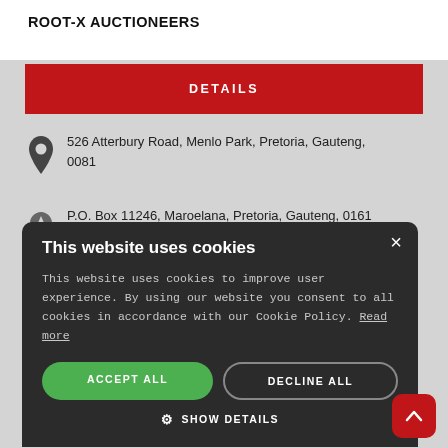ROOT-X AUCTIONEERS
DETAILS
526 Atterbury Road, Menlo Park, Pretoria, Gauteng, 0081
P.O. Box 11246, Maroelana, Pretoria, Gauteng, 0161
This website uses cookies
This website uses cookies to improve user experience. By using our website you consent to all cookies in accordance with our Cookie Policy. Read more
ACCEPT ALL
DECLINE ALL
SHOW DETAILS